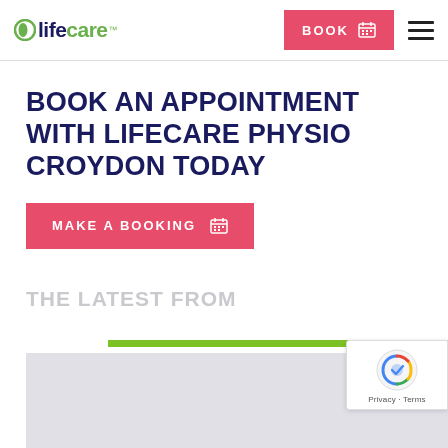lifecare™ | BOOK
BOOK AN APPOINTMENT WITH LIFECARE PHYSIO CROYDON TODAY
MAKE A BOOKING
THE LATEST FROM
[Figure (screenshot): Bottom portion of webpage showing a light grey image area]